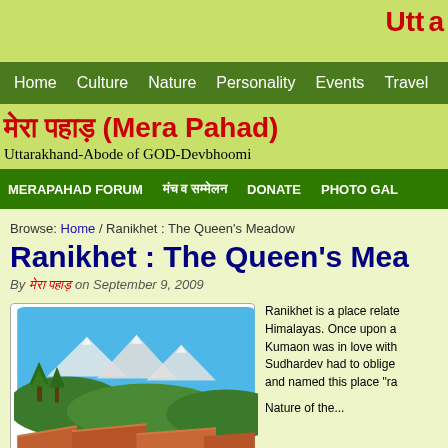Utta
Home  Culture  Nature  Personality  Events  Travel  Places  Dev
मेरा पहाड़ (Mera Pahad)
Uttarakhand-Abode of GOD-Devbhoomi
MERAPAHAD FORUM  मंच व सम्मेलन  DONATE  PHOTO GAL
Browse: Home / Ranikhet : The Queen's Meadow
Ranikhet : The Queen's Mea
By मेरा पहाड़ on September 9, 2009
[Figure (photo): Scenic mountain view of Ranikhet showing Himalayan peaks in background with rooftops and trees in foreground under blue sky]
Ranikhet is a place related to Himalayas. Once upon a Kumaon was in love with Sudhardev had to oblige and named this place "ra"

Nature of the...